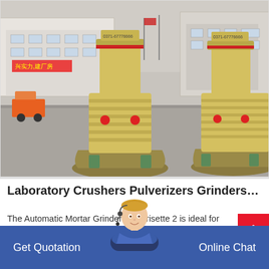[Figure (photo): Photo of large industrial yellow grinding/pulverizer machines (two visible) in an outdoor industrial yard, with factory buildings visible in the background.]
Laboratory Crushers Pulverizers Grinders La...
The Automatic Mortar Grinder Pulverisette 2 is ideal for universal grinding of medium-hard-brittle to soft-brittle materials (dry or in suspension) to analytical fineness,
Get Quotation   Online Chat